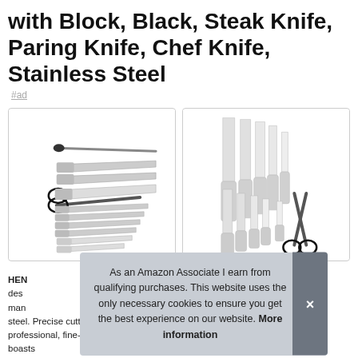with Block, Black, Steak Knife, Paring Knife, Chef Knife, Stainless Steel
#ad
[Figure (photo): A spread of kitchen knives and scissors laid out flat on white background, showing multiple knife types with silver/black handles]
[Figure (photo): A set of kitchen knives and scissors arranged standing upright side by side on white background, all with silver handles]
HEN... des... man... steel. Precise cutting. professional, fine-edge blade boasts
As an Amazon Associate I earn from qualifying purchases. This website uses the only necessary cookies to ensure you get the best experience on our website. More information